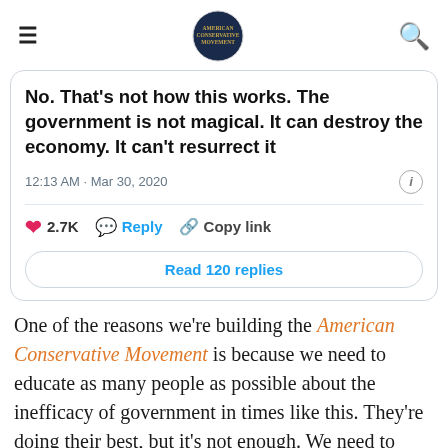American Conservative Movement logo header with hamburger menu and search icon
No. That's not how this works. The government is not magical. It can destroy the economy. It can't resurrect it
12:13 AM · Mar 30, 2020
2.7K  Reply  Copy link
Read 120 replies
One of the reasons we're building the American Conservative Movement is because we need to educate as many people as possible about the inefficacy of government in times like this. They're doing their best, but it's not enough. We need to unite as a people to fight this disease